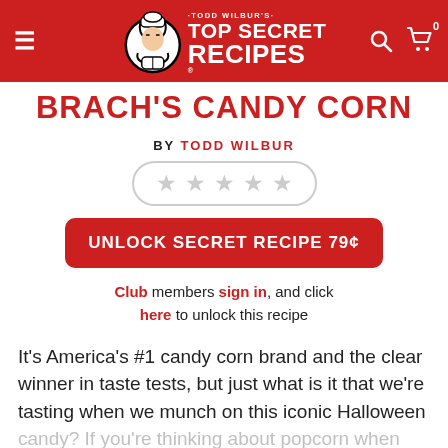TODD WILBUR'S TOP SECRET RECIPES
BRACH'S CANDY CORN
BY TODD WILBUR
[Figure (other): Five empty star rating icons in a rounded rectangle border]
UNLOCK SECRET RECIPE 79¢
Club members sign in, and click here to unlock this recipe
It's America's #1 candy corn brand and the clear winner in taste tests, but just what is it that we're tasting when we munch on this iconic Halloween candy? If you're thinking about popcorn when you eat it, you're on the right track. There is a dominating butter flavor and lots of salt in the...